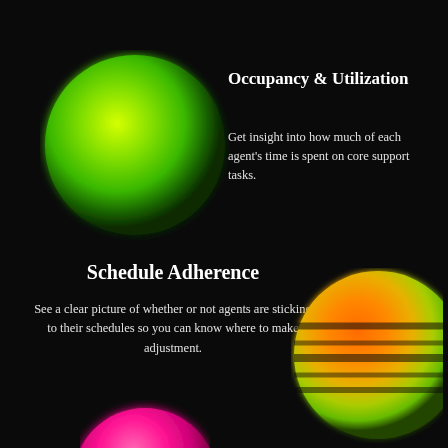[Figure (illustration): Glowing lime-green gradient sphere on dark background, positioned left side upper half]
Occupancy & Utilization
Get insight into how much of each agent's time is spent on core support tasks.
Schedule Adherence
See a clear picture of whether or not agents are sticking to their schedules so you can know where to make adjustment.
[Figure (illustration): Glowing orange-to-yellow-to-green gradient sphere with horizontal stripe bands, clipped at right edge, positioned right side lower half]
[Figure (illustration): Partial hot-pink/magenta gradient sphere visible at bottom center-left]